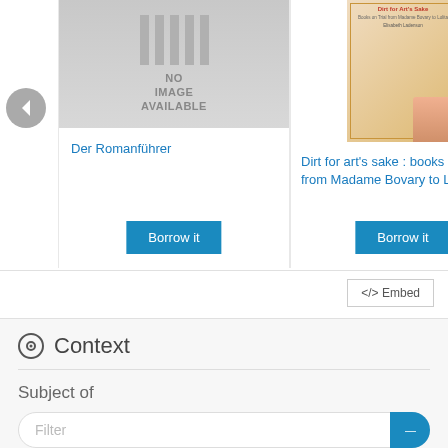[Figure (screenshot): Library catalog carousel showing two book entries: 'Der Romanführer' with no image available, and 'Dirt for art's sake : books on trial from Madame Bovary to Lolita,' with a book cover image. Both have 'Borrow it' buttons. Navigation arrows on left and right.]
Der Romanführer
Dirt for art's sake : books on trial from Madame Bovary to Lolita,
Borrow it
Borrow it
</> Embed
Context
Subject of
Filter